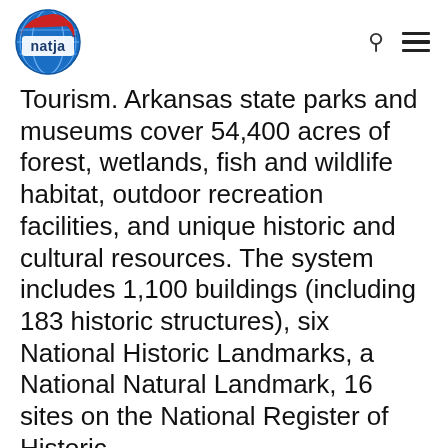natja logo, search icon, hamburger menu
Tourism. Arkansas state parks and museums cover 54,400 acres of forest, wetlands, fish and wildlife habitat, outdoor recreation facilities, and unique historic and cultural resources. The system includes 1,100 buildings (including 183 historic structures), six National Historic Landmarks, a National Natural Landmark, 16 sites on the National Register of Historic
We use cookies on our website to optimize your experience when visiting our website. By clicking “Accept”, you consent to the use of all the cookies.
Cookie settings
ACCEPT